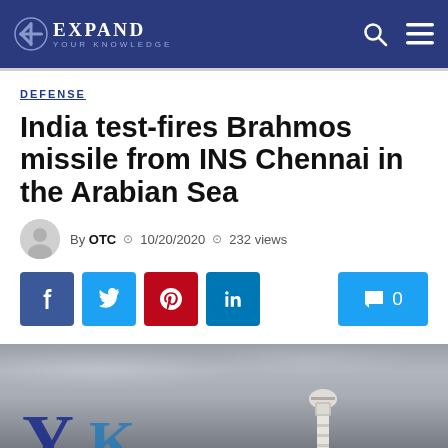Expand Your Knowledge
DEFENSE
India test-fires Brahmos missile from INS Chennai in the Arabian Sea
By OTC  10/20/2020  232 views
[Figure (photo): Hero image showing a lighthouse against a dramatic cloudy sky in black and white, with an Expand Your Knowledge logo overlay in the bottom left corner]